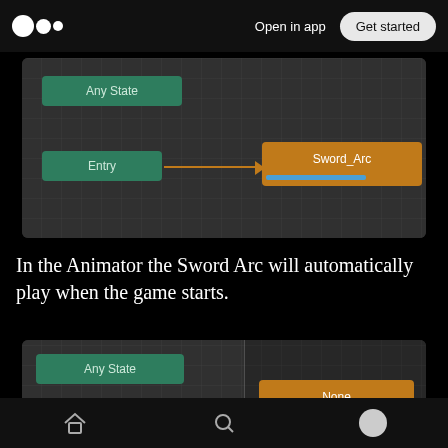Open in app  Get started
[Figure (screenshot): Unity Animator window showing Entry node connected by arrow to Sword_Arc animation state node (orange), with Any State node (green) above. Blue progress bar visible on Sword_Arc node.]
In the Animator the Sword Arc will automatically play when the game starts.
[Figure (screenshot): Unity Animator window showing Any State (green node) on left panel and None (orange node) on right panel, separated by a vertical divider.]
Home  Search  Profile